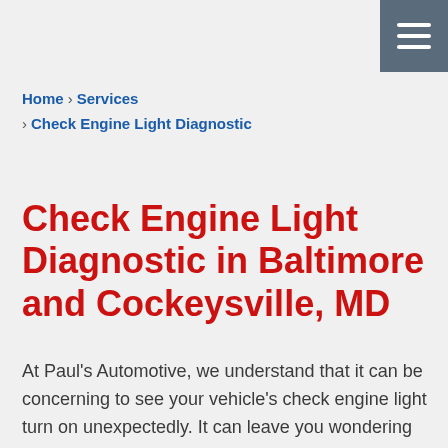Home > Services > Check Engine Light Diagnostic
Check Engine Light Diagnostic in Baltimore and Cockeysville, MD
At Paul's Automotive, we understand that it can be concerning to see your vehicle's check engine light turn on unexpectedly. It can leave you wondering what the issue is, and whether or not your vehicle is safe to continue driving. When you see the check engine light illuminate, it is your vehicle's way of